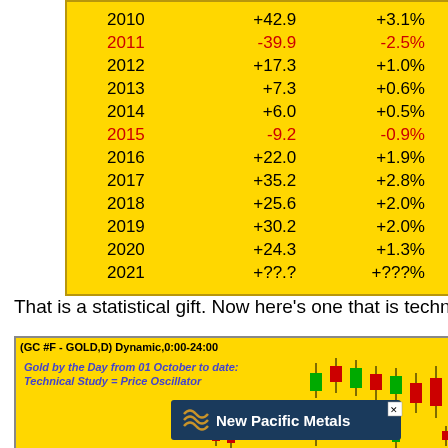| Year | Change | Pct |
| --- | --- | --- |
| 2010 | +42.9 | +3.1% |
| 2011 | -39.9 | -2.5% |
| 2012 | +17.3 | +1.0% |
| 2013 | +7.3 | +0.6% |
| 2014 | +6.0 | +0.5% |
| 2015 | -9.2 | -0.9% |
| 2016 | +22.0 | +1.9% |
| 2017 | +35.2 | +2.8% |
| 2018 | +25.6 | +2.0% |
| 2019 | +30.2 | +2.0% |
| 2020 | +24.3 | +1.3% |
| 2021 | +??.? | +???% |
That is a statistical gift. Now here's one that is technical:
[Figure (other): Gold candlestick chart screenshot: (GC #F - GOLD,D) Dynamic,0:00-24:00. Annotated 'Gold by the Day from 01 October to date: Technical Study = Price Oscillator'. Contains New Pacific Metals advertisement banner. Shows red and green candlestick bars on yellow background.]